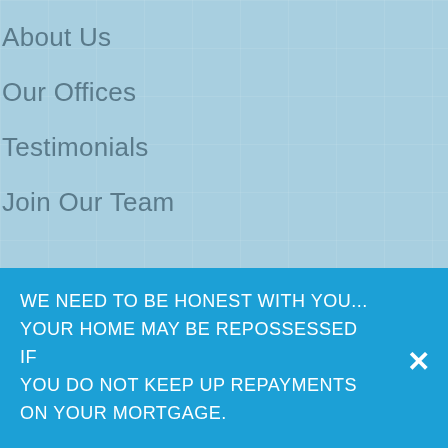About Us
Our Offices
Testimonials
Join Our Team
Blog
WE NEED TO BE HONEST WITH YOU... YOUR HOME MAY BE REPOSSESSED IF YOU DO NOT KEEP UP REPAYMENTS ON YOUR MORTGAGE.